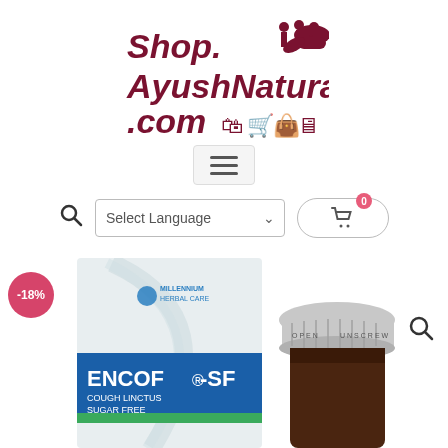[Figure (logo): Shop.AyushNatural.com logo with maroon text and icons including figures and shopping cart symbols]
[Figure (infographic): Hamburger menu icon (three horizontal lines) inside a light gray rounded rectangle]
[Figure (infographic): Toolbar row with search icon, Select Language dropdown, and shopping cart button with badge showing 0]
[Figure (infographic): -18% discount badge (pink circle)]
[Figure (photo): Product image showing ENCOF-SF Cough Linctus Sugar Free by Millennium Herbal Care - box and bottle]